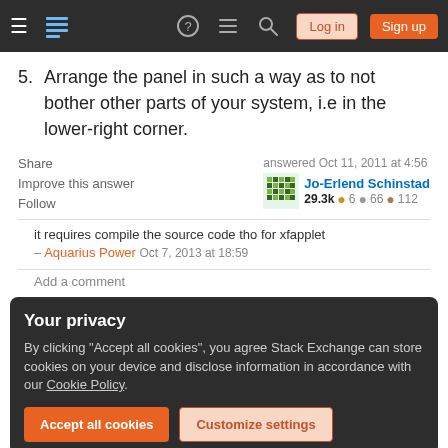Stack Exchange navigation bar with Log in and Sign up buttons
5. Arrange the panel in such a way as to not bother other parts of your system, i.e in the lower-right corner.
Share  Improve this answer  Follow  answered Oct 11, 2011 at 4:56  Jo-Erlend Schinstad  29.3k 6 66 112
it requires compile the source code tho for xfapplet – Aquarius Power Oct 7, 2013 at 18:59
Add a comment
Your privacy
By clicking "Accept all cookies", you agree Stack Exchange can store cookies on your device and disclose information in accordance with our Cookie Policy.
Accept all cookies  Customize settings
Share